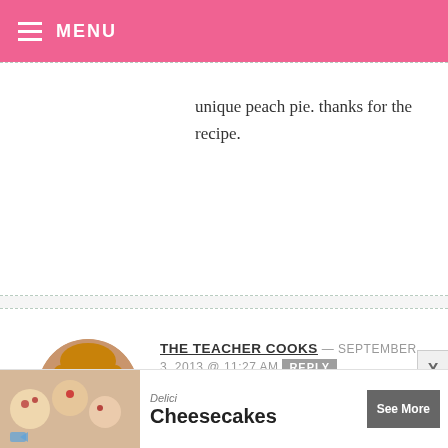MENU
unique peach pie. thanks for the recipe.
THE TEACHER COOKS — SEPTEMBER 3, 2013 @ 11:27 AM REPLY
What a cute Idea!
LANTANA — SEPTEMBER 3, 2013 @ 9:26 AM REPLY
these looks yummy!
[Figure (other): Ad banner for Delici Cheesecakes with See More button]